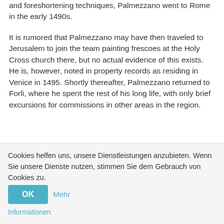and foreshortening techniques, Palmezzano went to Rome in the early 1490s.
It is rumored that Palmezzano may have then traveled to Jerusalem to join the team painting frescoes at the Holy Cross church there, but no actual evidence of this exists. He is, however, noted in property records as residing in Venice in 1495. Shortly thereafter, Palmezzano returned to Forli, where he spent the rest of his long life, with only brief excursions for commissions in other areas in the region.
Palmezzano's studio was prolific in producing altarpieces, most commonly featuring the iconic arrangement of an enthroned Virgin with child on her lap, with symmetrically depicted saints in the foreground below. Venetian painting in general and the work of Giovanni Bellini (1430 – 1516) and
Cookies helfen uns, unsere Dienstleistungen anzubieten. Wenn Sie unsere Dienste nutzen, stimmen Sie dem Gebrauch von Cookies zu.
Informationen